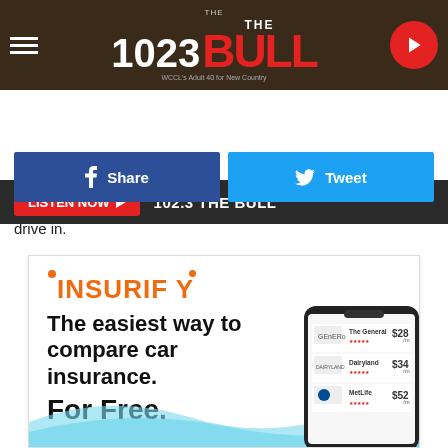[Figure (logo): 102.3 The Bull radio station header with hamburger menu, logo, and play button on dark wood background]
[Figure (screenshot): Listen Now button bar with red Listen Now button and 102.3 THE BULL text on dark background]
[Figure (infographic): Facebook Share and Twitter Tweet social sharing buttons]
drive in.
[Figure (infographic): Insurify insurance comparison advertisement showing logo, tagline 'The easiest way to compare car insurance. For Free.' with phone mockup showing The General $28/m, Dairyland $34/m, MetLife $52/m]